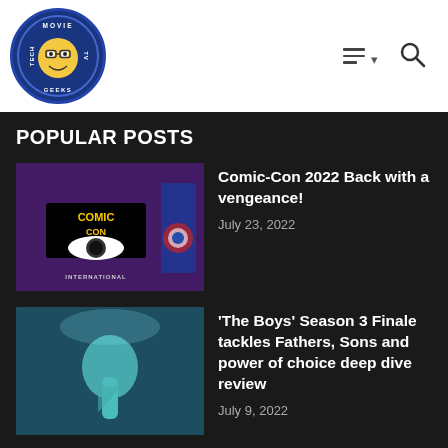Movie TV Tech Geeks logo with hamburger menu and search icon
POPULAR POSTS
Comic-Con 2022 Back with a vengeance! — July 23, 2022
'The Boys' Season 3 Finale tackles Fathers, Sons and power of choice deep dive review — July 9, 2022
EXCLUSIVE: 'The Boys' Jensen Ackles talks finding Soldier Boy's nuanced core with Eric Kripke — July 9, 2022